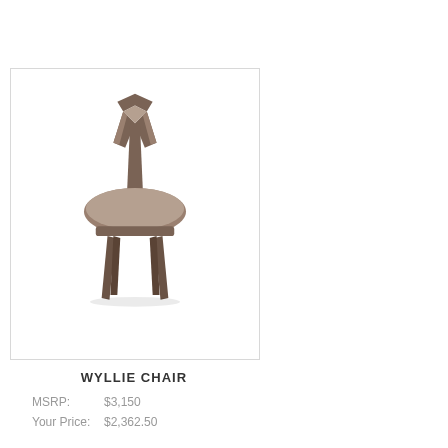[Figure (photo): A modern dining chair with a distinctive Y-shaped back splat in dark walnut/brown finish, upholstered round seat cushion in taupe/brown leather, and tapered legs. The chair has a sculptural mid-century modern aesthetic.]
WYLLIE CHAIR
MSRP:   $3,150
Your Price:  $2,362.50